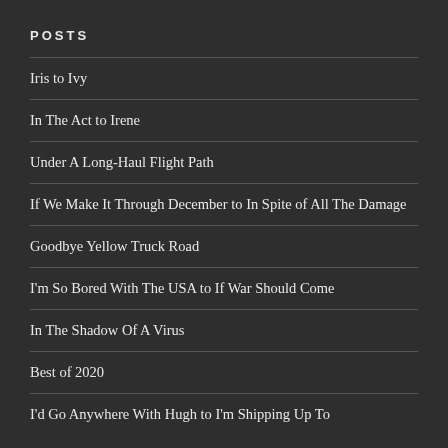POSTS
Iris to Ivy
In The Act to Irene
Under A Long-Haul Flight Path
If We Make It Through December to In Spite of All The Damage
Goodbye Yellow Truck Road
I'm So Bored With The USA to If War Should Come
In The Shadow Of A Virus
Best of 2020
I'd Go Anywhere With Hugh to I'm Shipping Up To